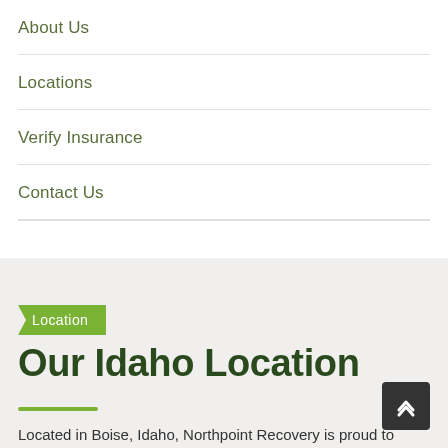About Us
Locations
Verify Insurance
Contact Us
Location
Our Idaho Location
Located in Boise, Idaho, Northpoint Recovery is proud to